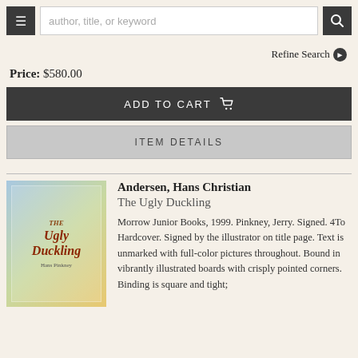author, title, or keyword [search bar]
Refine Search
Price: $580.00
ADD TO CART
ITEM DETAILS
Andersen, Hans Christian
The Ugly Duckling
Morrow Junior Books, 1999. Pinkney, Jerry. Signed. 4To Hardcover. Signed by the illustrator on title page. Text is unmarked with full-color pictures throughout. Bound in vibrantly illustrated boards with crisply pointed corners. Binding is square and tight;